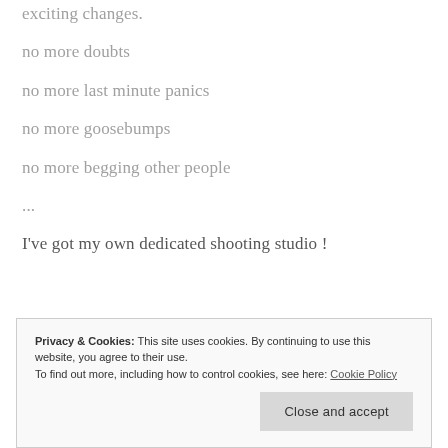exciting changes.
no more doubts
no more last minute panics
no more goosebumps
no more begging other people
...
I've got my own dedicated shooting studio !
Privacy & Cookies: This site uses cookies. By continuing to use this website, you agree to their use.
To find out more, including how to control cookies, see here: Cookie Policy
Close and accept